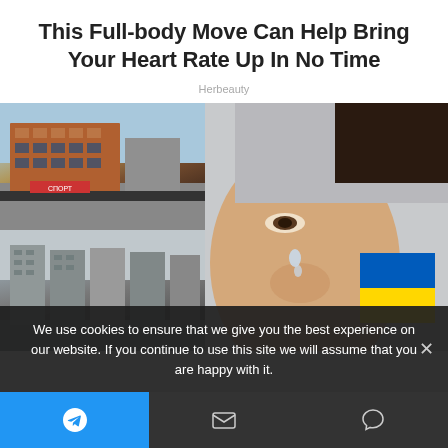This Full-body Move Can Help Bring Your Heart Rate Up In No Time
Herbeauty
[Figure (photo): Composite image: left side shows two photos of urban buildings (top: modern commercial building aerial view with red/brick facade; bottom: grey residential apartment blocks aerial view). Right side: close-up of a person's face with a Ukrainian flag painted on cheek, a tear on cheek.]
We use cookies to ensure that we give you the best experience on our website. If you continue to use this site we will assume that you are happy with it.
[Figure (infographic): Bottom navigation bar with three buttons: blue Telegram icon button on left, dark email/envelope icon in center, dark chat bubble icon on right.]